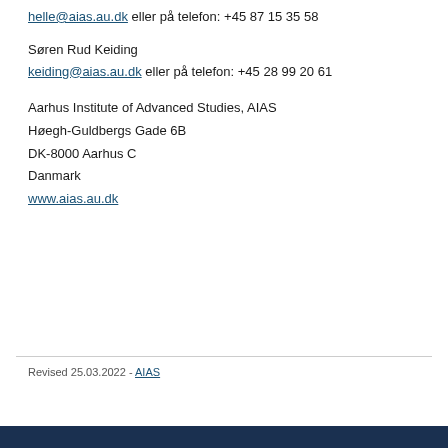helle@aias.au.dk eller på telefon: +45 87 15 35 58
Søren Rud Keiding
keiding@aias.au.dk eller på telefon: +45 28 99 20 61
Aarhus Institute of Advanced Studies, AIAS
Høegh-Guldbergs Gade 6B
DK-8000 Aarhus C
Danmark
www.aias.au.dk
Revised 25.03.2022 - AIAS